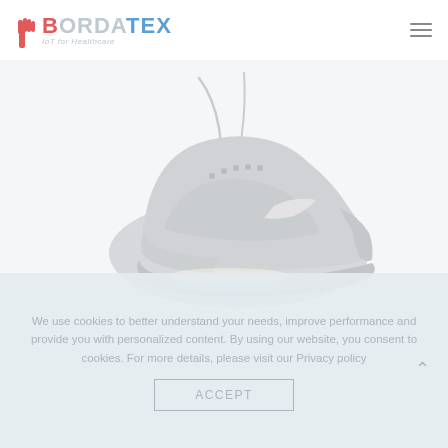[Figure (logo): Bordatex logo with red and blue lettering and tagline 'IoT for Healthcare']
[Figure (photo): A light gray/silver Nike running shoe floating against a white background, laces undone flowing upward]
We use cookies to better understand your needs, improve performance and provide you with personalized content. By using our website, you consent to cookies. For more details, please visit our Privacy policy
ACCEPT